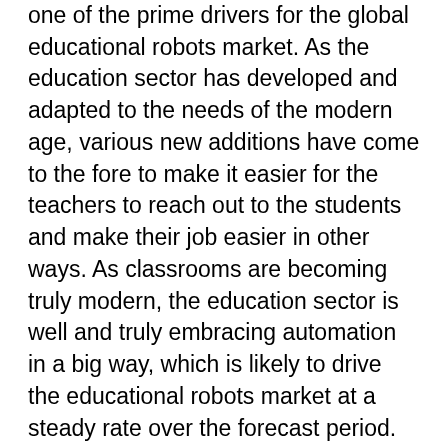one of the prime drivers for the global educational robots market. As the education sector has developed and adapted to the needs of the modern age, various new additions have come to the fore to make it easier for the teachers to reach out to the students and make their job easier in other ways. As classrooms are becoming truly modern, the education sector is well and truly embracing automation in a big way, which is likely to drive the educational robots market at a steady rate over the forecast period. Automation has made modern education highly efficient and has made the job of administrators much easier than before. The role of automation in the education sector is likely to grow steadily over the coming years, lending support to the educational robots market.
The increasing research and development in the